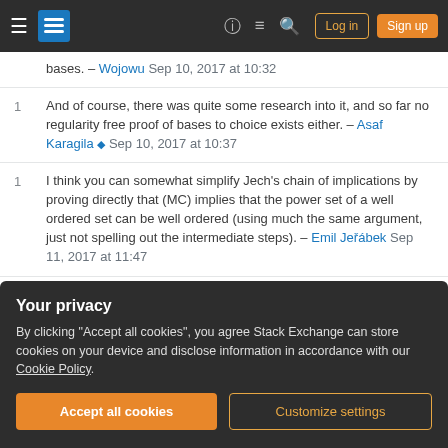Stack Exchange navigation bar with hamburger menu, logo, help, chat, search icons, Log in and Sign up buttons
bases. – Wojowu Sep 10, 2017 at 10:32
1 And of course, there was quite some research into it, and so far no regularity free proof of bases to choice exists either. – Asaf Karagila ♦ Sep 10, 2017 at 10:37
1 I think you can somewhat simplify Jech's chain of implications by proving directly that (MC) implies that the power set of a well ordered set can be well ordered (using much the same argument, just not spelling out the intermediate steps). – Emil Jeřábek Sep 11, 2017 at 11:47
Show 11 more comments
Your privacy
By clicking "Accept all cookies", you agree Stack Exchange can store cookies on your device and disclose information in accordance with our Cookie Policy.
Accept all cookies  Customize settings